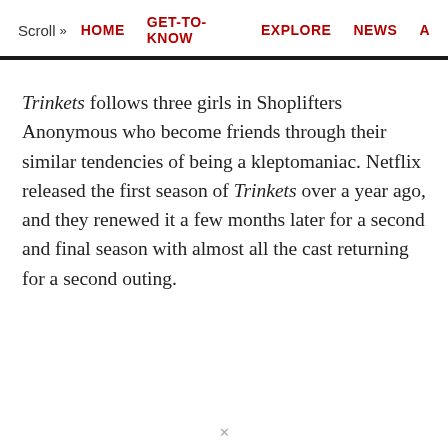Scroll >> HOME  GET-TO-KNOW  EXPLORE  NEWS  A
Trinkets follows three girls in Shoplifters Anonymous who become friends through their similar tendencies of being a kleptomaniac. Netflix released the first season of Trinkets over a year ago, and they renewed it a few months later for a second and final season with almost all the cast returning for a second outing.